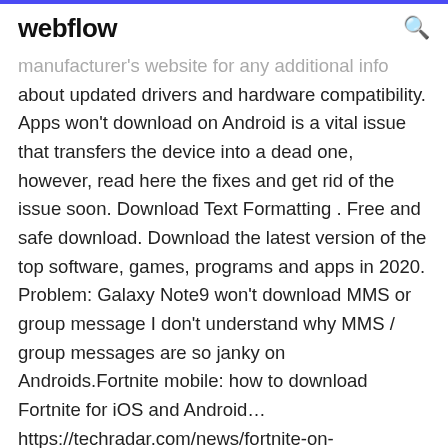webflow
manufacturer's website for any additional info about updated drivers and hardware compatibility. Apps won't download on Android is a vital issue that transfers the device into a dead one, however, read here the fixes and get rid of the issue soon. Download Text Formatting . Free and safe download. Download the latest version of the top software, games, programs and apps in 2020. Problem: Galaxy Note9 won't download MMS or group message I don't understand why MMS / group messages are so janky on Androids.Fortnite mobile: how to download Fortnite for iOS and Android… https://techradar.com/news/fortnite-on-androidMonths after it hit iOS, Epic Games has